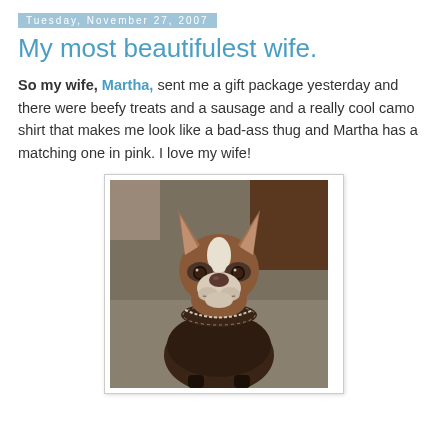Tuesday, November 27, 2007
My most beautifulest wife.
So my wife, Martha, sent me a gift package yesterday and there were beefy treats and a sausage and a really cool camo shirt that makes me look like a bad-ass thug and Martha has a matching one in pink. I love my wife!
[Figure (photo): A Boston Terrier dog wearing a dark brown knitted sweater, looking directly at the camera with a serious expression. The dog has brown and white coloring with a white blaze on its forehead. The photo is taken indoors.]